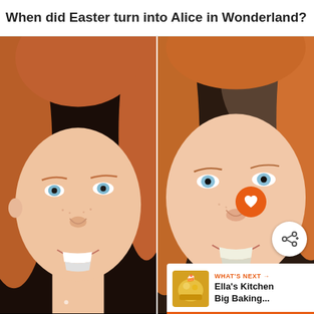When did Easter turn into Alice in Wonderland?
[Figure (photo): Side-by-side comparison photos of a young redheaded girl with blue eyes and a smile. Left photo shows a close-up face shot; right photo shows a similar close-up face shot, slightly more zoomed in. Both images show the same girl smiling.]
WHAT'S NEXT → Ella's Kitchen Big Baking...